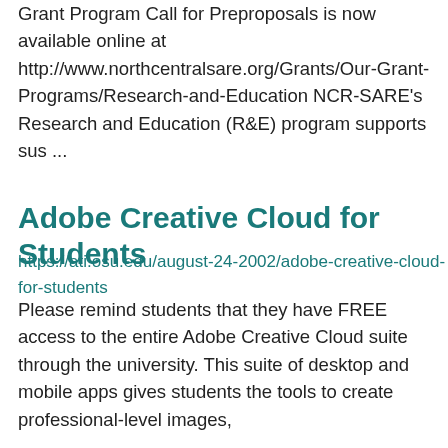Grant Program Call for Preproposals is now available online at http://www.northcentralsare.org/Grants/Our-Grant-Programs/Research-and-Education NCR-SARE's Research and Education (R&E) program supports sus ...
Adobe Creative Cloud for Students
https://ati.osu.edu/august-24-2002/adobe-creative-cloud-for-students
Please remind students that they have FREE access to the entire Adobe Creative Cloud suite through the university. This suite of desktop and mobile apps gives students the tools to create professional-level images,